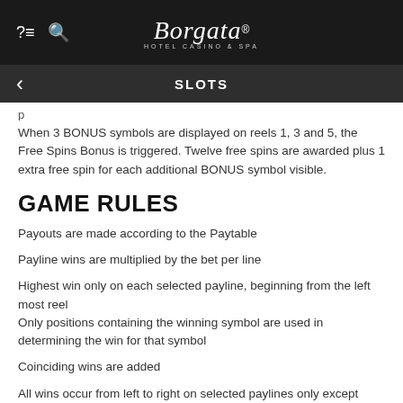Borgata Hotel Casino & Spa — SLOTS
When 3 BONUS symbols are displayed on reels 1, 3 and 5, the Free Spins Bonus is triggered. Twelve free spins are awarded plus 1 extra free spin for each additional BONUS symbol visible.
GAME RULES
Payouts are made according to the Paytable
Payline wins are multiplied by the bet per line
Highest win only on each selected payline, beginning from the left most reel
Only positions containing the winning symbol are used in determining the win for that symbol
Coinciding wins are added
All wins occur from left to right on selected paylines only except BONUS which pays any
Malfunction voids all pays and plays